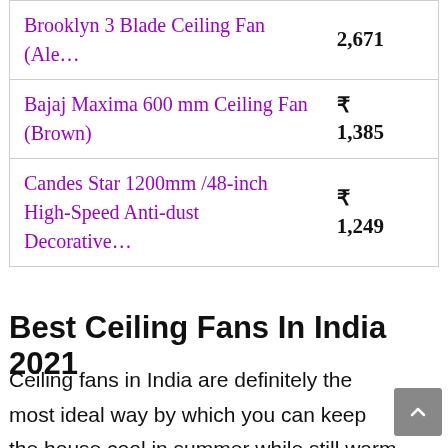| Product | Price |
| --- | --- |
| Brooklyn 3 Blade Ceiling Fan (Ale… | 2,671 |
| Bajaj Maxima 600 mm Ceiling Fan (Brown) | ₹ 1,385 |
| Candes Star 1200mm /48-inch High-Speed Anti-dust Decorative… | ₹ 1,249 |
Best Ceiling Fans In India 2021
Ceiling fans in India are definitely the most ideal way by which you can keep the house cool in summer while still warm enough in winter.